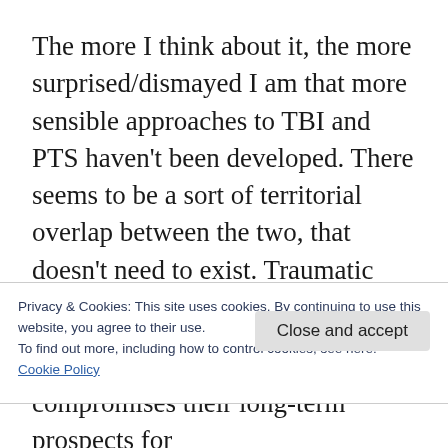The more I think about it, the more surprised/dismayed I am that more sensible approaches to TBI and PTS haven't been developed. There seems to be a sort of territorial overlap between the two, that doesn't need to exist. Traumatic Brain Injury comes with a full compliment of neurological issues that can be as physiological as psychological. And those issues can — and often do — lead to traumatic stress. That
Privacy & Cookies: This site uses cookies. By continuing to use this website, you agree to their use.
To find out more, including how to control cookies, see here:
Cookie Policy
compromises their long-term prospects for